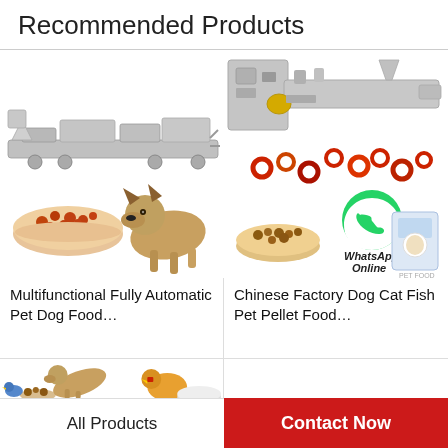Recommended Products
[Figure (photo): Multifunctional pet food extrusion machinery line with stainless steel components, and a bowl of red pet food kibble with a German Shepherd dog]
Multifunctional Fully Automatic Pet Dog Food…
[Figure (photo): Chinese factory pet food extruder machine with a bowl of brown kibble, colorful ring-shaped treats, a bag of pet food, and WhatsApp Online overlay]
Chinese Factory Dog Cat Fish Pet Pellet Food…
[Figure (photo): Animals (dog, bird, chicken) eating pet food pellets from a pile — partial product image at bottom]
All Products
Contact Now